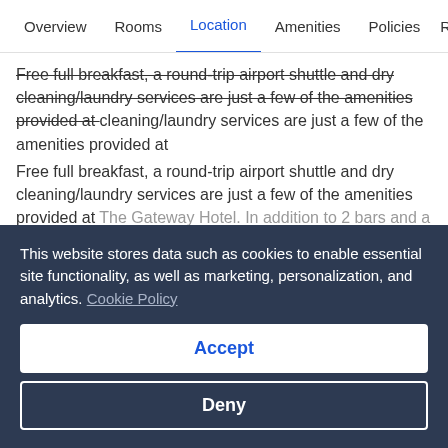Overview | Rooms | Location | Amenities | Policies | R...
Free full breakfast, a round-trip airport shuttle and dry cleaning/laundry services are just a few of the amenities provided at The Gateway Hotel. In addition to 2 bars and a business centre, guests can connect to free in-room WiFi.
See more
Property amenities
This website stores data such as cookies to enable essential site functionality, as well as marketing, personalization, and analytics. Cookie Policy
Accept
Deny